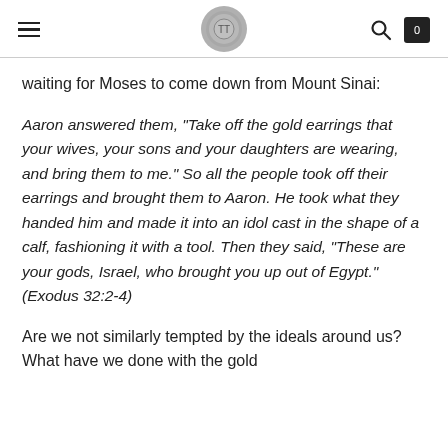[hamburger menu] [logo] [search] [cart 0]
waiting for Moses to come down from Mount Sinai:
Aaron answered them, “Take off the gold earrings that your wives, your sons and your daughters are wearing, and bring them to me.” So all the people took off their earrings and brought them to Aaron. He took what they handed him and made it into an idol cast in the shape of a calf, fashioning it with a tool. Then they said, “These are your gods, Israel, who brought you up out of Egypt.” (Exodus 32:2-4)
Are we not similarly tempted by the ideals around us? What have we done with the gold